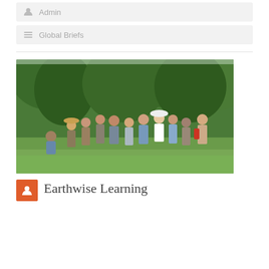Admin
Global Briefs
[Figure (photo): Group of people standing outdoors in a green meadow or field, with trees in the background, appearing to be engaged in an outdoor learning or nature walk activity.]
Earthwise Learning